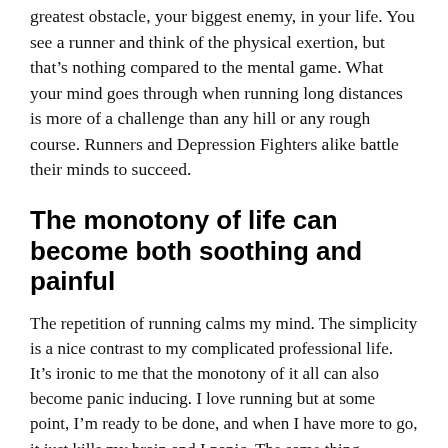greatest obstacle, your biggest enemy, in your life. You see a runner and think of the physical exertion, but that's nothing compared to the mental game. What your mind goes through when running long distances is more of a challenge than any hill or any rough course. Runners and Depression Fighters alike battle their minds to succeed.
The monotony of life can become both soothing and painful
The repetition of running calms my mind. The simplicity is a nice contrast to my complicated professional life. It's ironic to me that the monotony of it all can also become panic inducing. I love running but at some point, I'm ready to be done, and when I have more to go, it just kills my brain and I panic. The same thing happens in real life for me too. My anxiety requires me to be a creature of habit and keep things nice and smooth. However, that gets a bit boring and then the depression sets in. So it's a rock and hard place situation that I often also encounter when I go for a run.